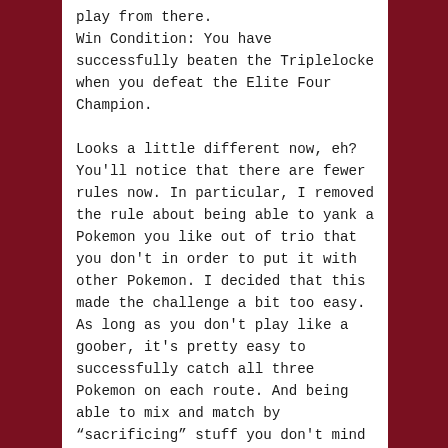play from there.
Win Condition: You have successfully beaten the Triplelocke when you defeat the Elite Four Champion.

Looks a little different now, eh? You'll notice that there are fewer rules now. In particular, I removed the rule about being able to yank a Pokemon you like out of trio that you don't in order to put it with other Pokemon. I decided that this made the challenge a bit too easy. As long as you don't play like a goober, it's pretty easy to successfully catch all three Pokemon on each route. And being able to mix and match by “sacrificing” stuff you don't mind losing just makes things easier because